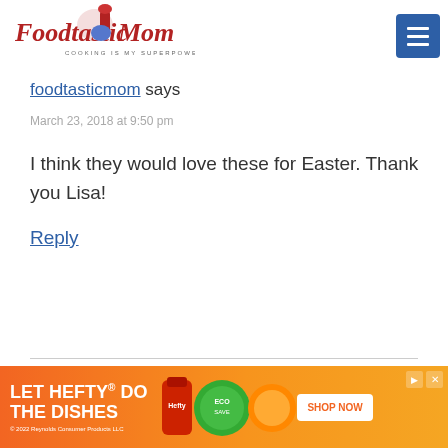[Figure (logo): Foodtastic Mom logo with red KitchenAid mixer, script text and tagline COOKING IS MY SUPERPOWER]
foodtasticmom says
March 23, 2018 at 9:50 pm
I think they would love these for Easter. Thank you Lisa!
Reply
Hayley says
[Figure (other): LET HEFTY DO THE DISHES advertisement banner with product images and SHOP NOW button]